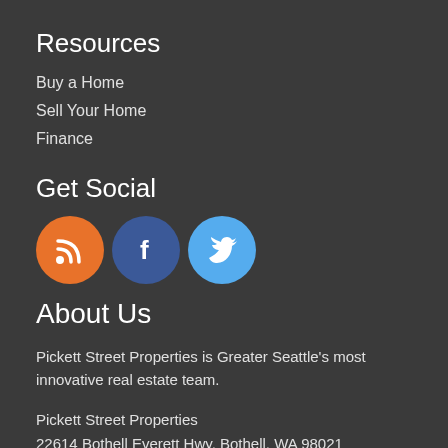Resources
Buy a Home
Sell Your Home
Finance
Get Social
[Figure (illustration): Three social media icons: RSS (orange circle), Facebook (dark blue circle), Twitter (light blue circle)]
About Us
Pickett Street Properties is Greater Seattle's most innovative real estate team.
Pickett Street Properties
22614 Bothell Everett Hwy, Bothell, WA 98021
(425) 502-5397